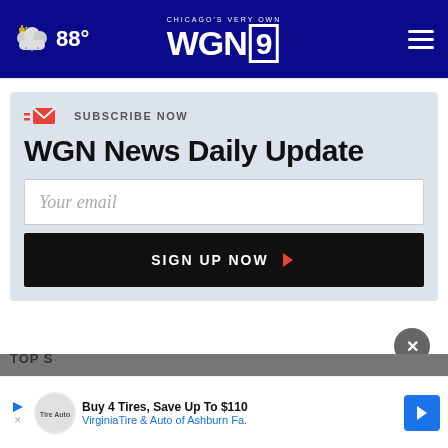CHICAGO'S VERY OWN WGN9 — 88°
SUBSCRIBE NOW
WGN News Daily Update
Your email
SIGN UP NOW
TOP S...
Buy 4 Tires, Save Up To $110 VirginiaTire & Auto of Ashburn Fa.